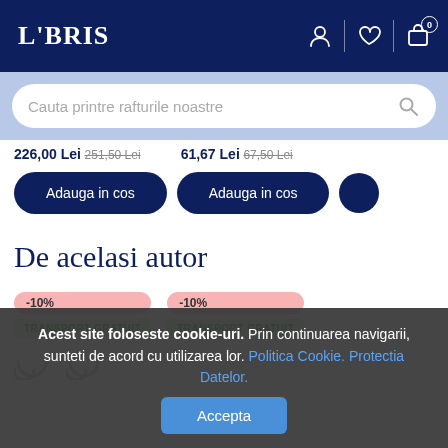LIBRIS
Cauta printre rafturile noastre
226,00 Lei 251,50 Lei   61,67 Lei 67,50 Lei
Adauga in cos   Adauga in cos
De acelasi autor
-10%   TRANSPORT GRATUIT   -10%   TRANSPORT GRATUIT
Acest site foloseste cookie-uri. Prin continuarea navigarii, sunteti de acord cu utilizarea lor. Politica Cookie. Protectia Datelor.
Accepta